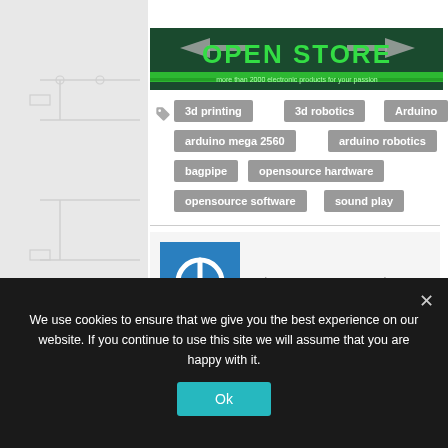[Figure (logo): Open Store banner: dark green background with arrow graphics and text 'OPEN STORE' in large green font, subtitle 'more than 2000 electronic products for your passion']
3d printing
3d robotics
Arduino
arduino mega 2560
arduino robotics
bagpipe
opensource hardware
opensource software
sound play
[Figure (illustration): Blue square avatar with white power button icon]
About Luca Ruggeri
We use cookies to ensure that we give you the best experience on our website. If you continue to use this site we will assume that you are happy with it.